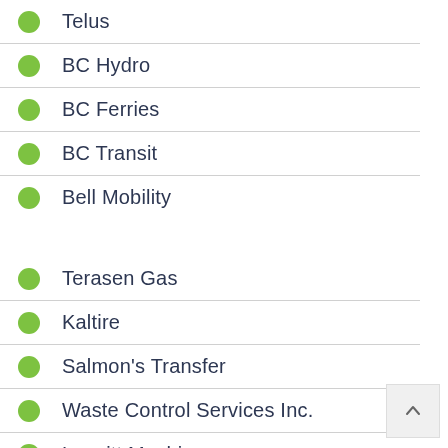Telus
BC Hydro
BC Ferries
BC Transit
Bell Mobility
Terasen Gas
Kaltire
Salmon's Transfer
Waste Control Services Inc.
Leavitt Machinery